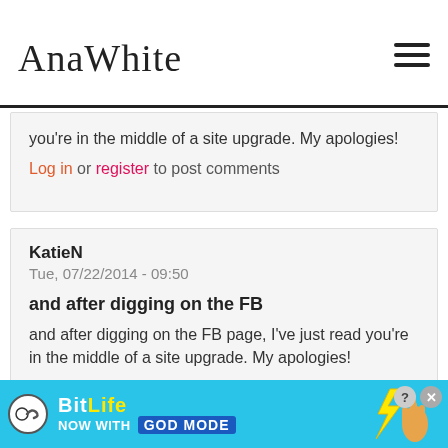AnaWhite
you're in the middle of a site upgrade. My apologies!
Log in or register to post comments
KatieN
Tue, 07/22/2014 - 09:50
and after digging on the FB
and after digging on the FB page, I've just read you're in the middle of a site upgrade. My apologies!
Log in or register to post comments
[Figure (infographic): BitLife advertisement banner: NOW WITH GOD MODE, with hand illustration and close button]